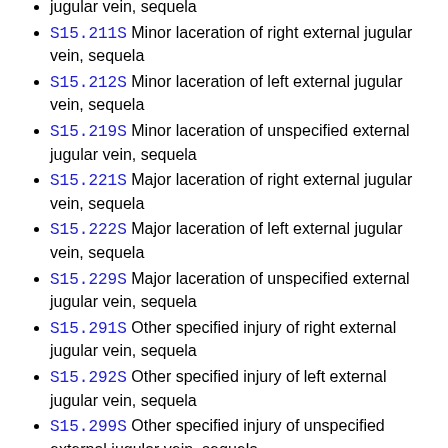S15.211S Minor laceration of right external jugular vein, sequela
S15.212S Minor laceration of left external jugular vein, sequela
S15.219S Minor laceration of unspecified external jugular vein, sequela
S15.221S Major laceration of right external jugular vein, sequela
S15.222S Major laceration of left external jugular vein, sequela
S15.229S Major laceration of unspecified external jugular vein, sequela
S15.291S Other specified injury of right external jugular vein, sequela
S15.292S Other specified injury of left external jugular vein, sequela
S15.299S Other specified injury of unspecified external jugular vein, sequela
S15.301S Unspecified injury of right internal jugular vein, sequela
S15.302S Unspecified injury of left internal jugular vein, sequela
S15.309S Unspecified injury of unspecified internal jugular